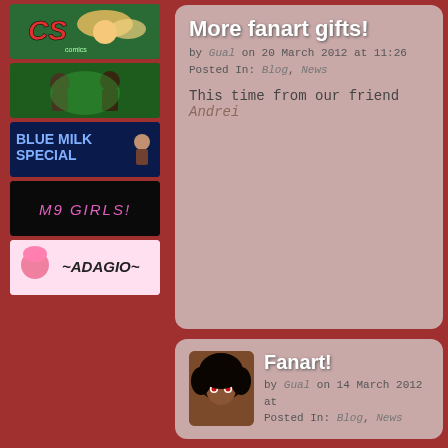[Figure (illustration): Left sidebar with comic banner advertisements: CS (green/angel), unnamed green banner, Blue Milk Special, M9 Girls!, and Adagio banners]
More fanart gifts!
by Gual on 20 March 2012 at 11:26
Posted In: Blog, News
This time from our friend Andrei
Fanart!
by Gual on 14 March 2012 at
Posted In: Blog, News